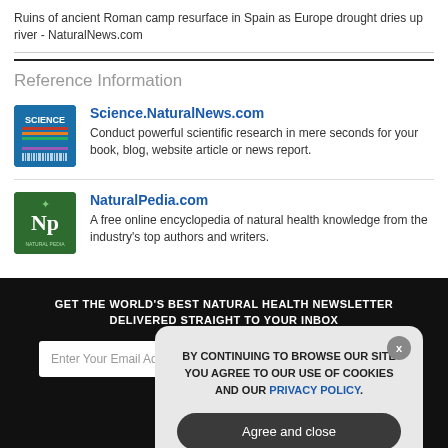Ruins of ancient Roman camp resurface in Spain as Europe drought dries up river - NaturalNews.com
Reference Information
Science.NaturalNews.com
Conduct powerful scientific research in mere seconds for your book, blog, website article or news report.
NaturalPedia.com
A free online encyclopedia of natural health knowledge from the industry's top authors and writers.
GET THE WORLD'S BEST NATURAL HEALTH NEWSLETTER DELIVERED STRAIGHT TO YOUR INBOX
BY CONTINUING TO BROWSE OUR SITE YOU AGREE TO OUR USE OF COOKIES AND OUR PRIVACY POLICY.
Agree and close